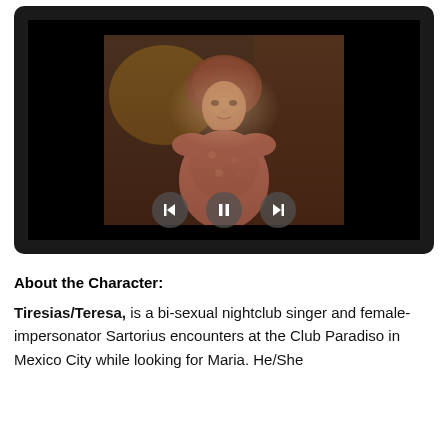[Figure (screenshot): A video player screenshot showing a woman in a vintage dress with dark hair in an ornate indoor setting. Below the image are playback controls: back arrow, pause button, and forward arrow, rendered as circular buttons on a dark background.]
About the Character:
Tiresias/Teresa, is a bi-sexual nightclub singer and female-impersonator Sartorius encounters at the Club Paradiso in Mexico City while looking for Maria. He/She